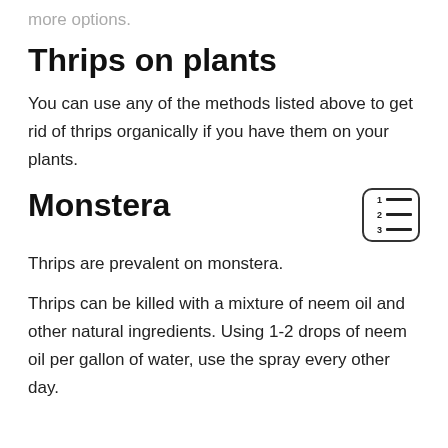more options.
Thrips on plants
You can use any of the methods listed above to get rid of thrips organically if you have them on your plants.
Monstera
Thrips are prevalent on monstera.
Thrips can be killed with a mixture of neem oil and other natural ingredients. Using 1-2 drops of neem oil per gallon of water, use the spray every other day.